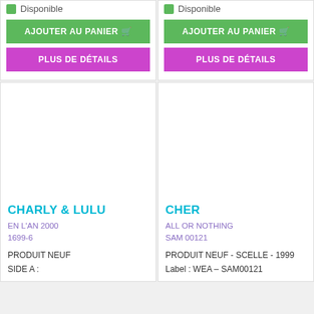[Figure (screenshot): Green availability indicator dot with text 'Disponible' for left card]
Disponible
AJOUTER AU PANIER 🛒
PLUS DE DÉTAILS
[Figure (screenshot): Green availability indicator dot with text 'Disponible' for right card]
Disponible
AJOUTER AU PANIER 🛒
PLUS DE DÉTAILS
CHARLY & LULU
EN L'AN 2000
1699-6
PRODUIT NEUF
SIDE A :
CHER
ALL OR NOTHING
SAM 00121
PRODUIT NEUF - SCELLE - 1999
Label : WEA – SAM00121